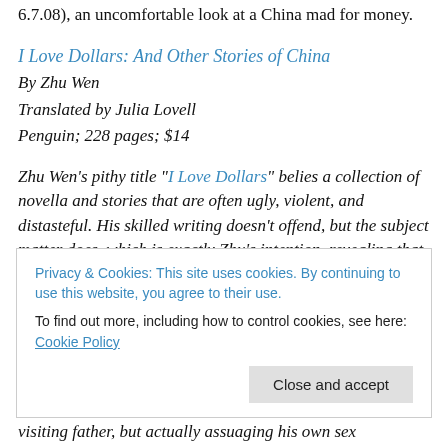6.7.08), an uncomfortable look at a China mad for money.
I Love Dollars: And Other Stories of China
By Zhu Wen
Translated by Julia Lovell
Penguin; 228 pages; $14
Zhu Wen's pithy title "I Love Dollars" belies a collection of novella and stories that are often ugly, violent, and distasteful. His skilled writing doesn't offend, but the subject matter does, which is exactly Zhu's intention, revealing that the exposed underbelly of China's rampant
Privacy & Cookies: This site uses cookies. By continuing to use this website, you agree to their use.
To find out more, including how to control cookies, see here: Cookie Policy
visiting father, but actually assuaging his own sex